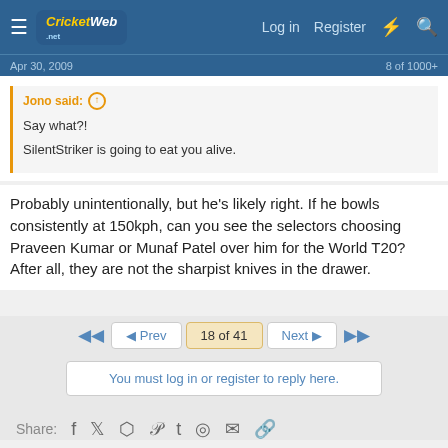CricketWeb Log in Register
Jono said: ↑
Say what?!
SilentStriker is going to eat you alive.
Probably unintentionally, but he's likely right. If he bowls consistently at 150kph, can you see the selectors choosing Praveen Kumar or Munaf Patel over him for the World T20? After all, they are not the sharpist knives in the drawer.
◄◄  ◄ Prev  18 of 41  Next ►  ►►
You must log in or register to reply here.
Share: